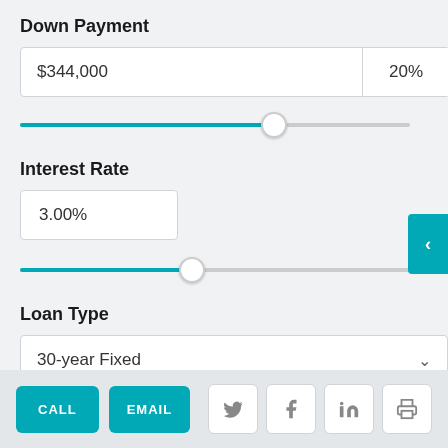Down Payment
$344,000    20%
[Figure (other): Horizontal slider for down payment, filled about 65% in teal, thumb at approximately 65% position]
Interest Rate
3.00%
[Figure (other): Horizontal slider for interest rate, filled about 45% in teal, thumb at approximately 45% position]
Loan Type
30-year Fixed
CALL   EMAIL
[Figure (other): Social sharing buttons: Twitter, Facebook, LinkedIn, Print]